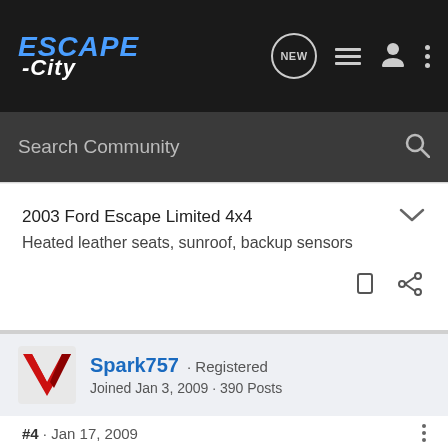ESCAPE -City [navigation bar with NEW, list, user, menu icons]
Search Community
2003 Ford Escape Limited 4x4
Heated leather seats, sunroof, backup sensors
Spark757 · Registered
Joined Jan 3, 2009 · 390 Posts
#4 · Jan 17, 2009
I don't bother anymore, because every single time I wash my baby (regardless of weather forecast) it rains. I fail. :lol: